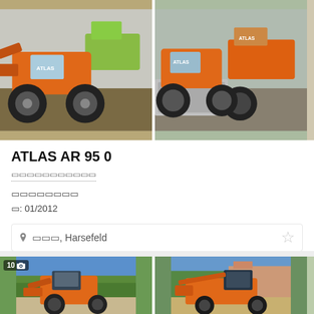[Figure (photo): Two orange ATLAS wheel loaders photographed from the front-left angle in a yard setting. Second photo shows similar loaders from a different angle.]
ATLAS AR 95 0
[redacted price]
[redacted details]
[redacted]: 01/2012
📍 [redacted], Harsefeld
[Figure (photo): Orange compact wheel loader photographed in a garden/residential setting from the front. A second photo shows the same loader from the side.]